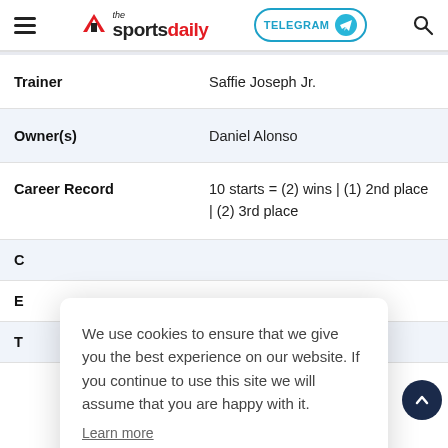the sportsdaily — TELEGRAM (button) — Search
| Field | Value |
| --- | --- |
| Trainer | Saffie Joseph Jr. |
| Owner(s) | Daniel Alonso |
| Career Record | 10 starts = (2) wins | (1) 2nd place | (2) 3rd place |
We use cookies to ensure that we give you the best experience on our website. If you continue to use this site we will assume that you are happy with it.
Learn more
Okay